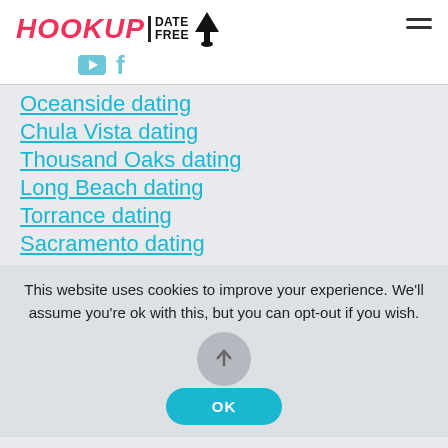HOOKUP | DATE FREE
Oceanside dating
Chula Vista dating
Thousand Oaks dating
Long Beach dating
Torrance dating
Sacramento dating
This website uses cookies to improve your experience. We'll assume you're ok with this, but you can opt-out if you wish.